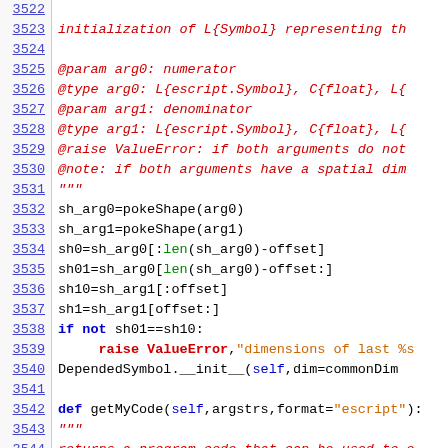[Figure (screenshot): Source code listing showing Python code lines 3522-3544 with line numbers on the left and syntax-highlighted code on the right. Comments in red italic, keywords in blue bold, strings in orange/green, regular code in black monospace.]